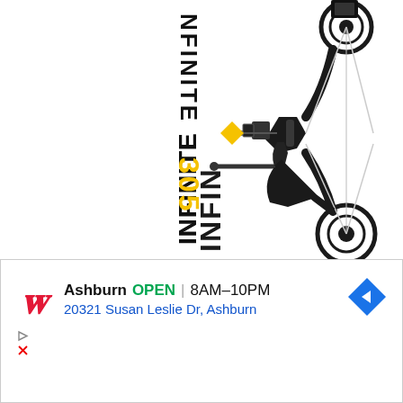[Figure (photo): A black compound bow (INFINITE 305) shown vertically with the text 'INFINITE 305' printed vertically along the limb. The '305' portion is in yellow, the rest in black/dark. The bow has cams at top and bottom, strings, sight, arrow rest, and stabilizer.]
[Figure (other): Walgreens advertisement banner showing store info: Ashburn OPEN 8AM-10PM, 20321 Susan Leslie Dr, Ashburn, with a navigation arrow icon and Walgreens cursive W logo. Below are small ad attribution icons (triangle play button and X close button).]